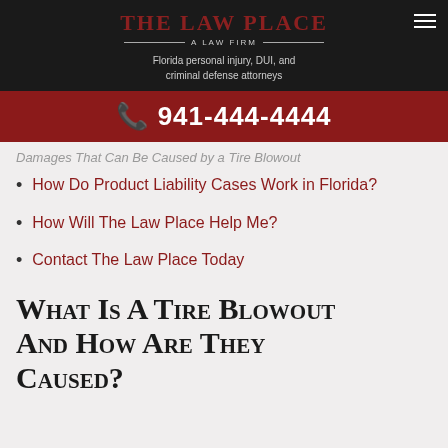The Law Place — A Law Firm
Florida personal injury, DUI, and criminal defense attorneys
📞 941-444-4444
Damages That Can Be Caused by a Tire Blowout
How Do Product Liability Cases Work in Florida?
How Will The Law Place Help Me?
Contact The Law Place Today
What Is A Tire Blowout And How Are They Caused?